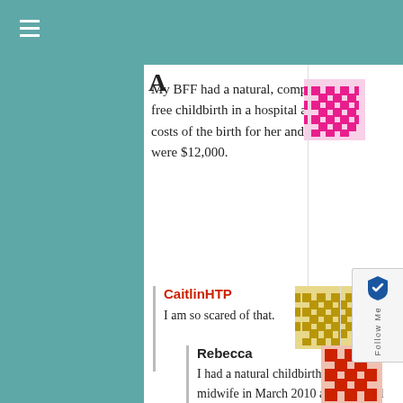My BFF had a natural, complication-free childbirth in a hospital and the costs of the birth for her and the baby were $12,000.
CaitlinHTP
I am so scared of that.
Rebecca
I had a natural childbirth with a midwife in March 2010 and received nothing in the hospital except IV